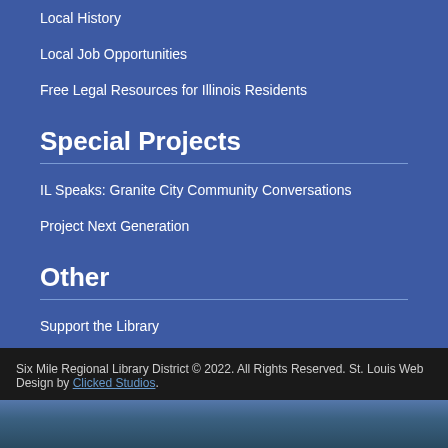Local History
Local Job Opportunities
Free Legal Resources for Illinois Residents
Special Projects
IL Speaks: Granite City Community Conversations
Project Next Generation
Other
Support the Library
Friends of the Library
Make a Suggestion
Disclaimer
Site Map
Six Mile Regional Library District © 2022. All Rights Reserved. St. Louis Web Design by Clicked Studios.